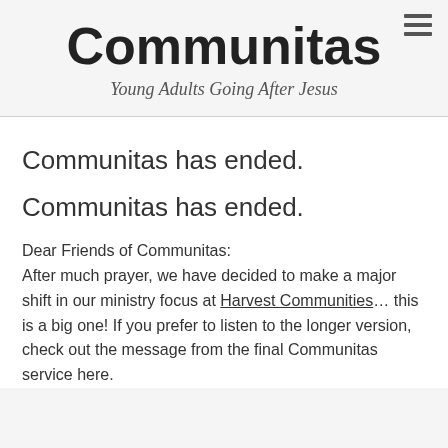Communitas
Young Adults Going After Jesus
Communitas has ended.
Communitas has ended.
Dear Friends of Communitas:
After much prayer, we have decided to make a major shift in our ministry focus at Harvest Communities… this is a big one! If you prefer to listen to the longer version, check out the message from the final Communitas service here.